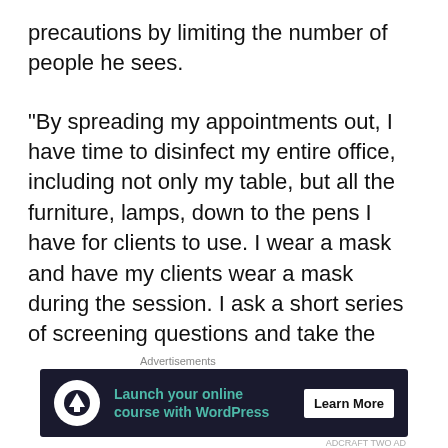precautions by limiting the number of people he sees.
“By spreading my appointments out, I have time to disinfect my entire office, including not only my table, but all the furniture, lamps, down to the pens I have for clients to use. I wear a mask and have my clients wear a mask during the session. I ask a short series of screening questions and take the individual’s temperature before we start. My wife and I have both been tested and are negative right now for the virus.”
[Figure (other): Advertisement banner: 'Launch your online course with WordPress' with Learn More button on dark background, preceded by 'Advertisements' label.]